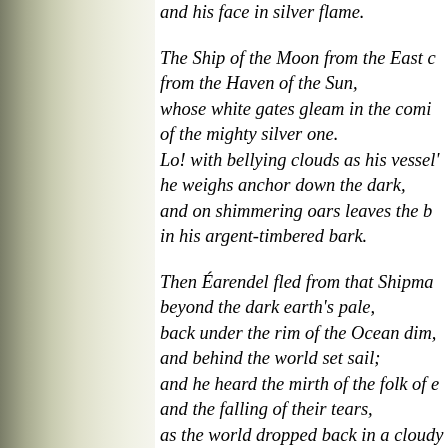and his face in silver flame.

The Ship of the Moon from the East c[ame]
from the Haven of the Sun,
whose white gates gleam in the comi[ng]
of the mighty silver one.
Lo! with bellying clouds as his vessel'[s sail]
he weighs anchor down the dark,
and on shimmering oars leaves the b[ay]
in his argent-timbered bark.

Then Éarendel fled from that Shipma[n]
beyond the dark earth's pale,
back under the rim of the Ocean dim,
and behind the world set sail;
and he heard the mirth of the folk of e[arth]
and the falling of their tears,
as the world dropped back in a cloudy
on its journey down the years.